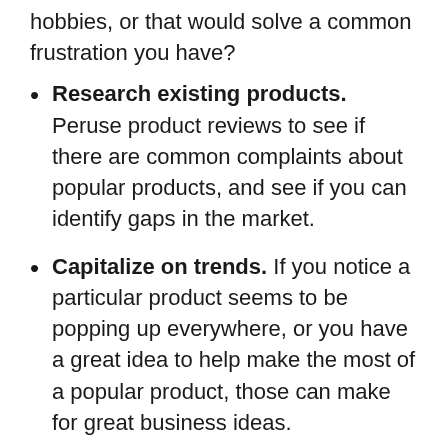hobbies, or that would solve a common frustration you have?
Research existing products. Peruse product reviews to see if there are common complaints about popular products, and see if you can identify gaps in the market.
Capitalize on trends. If you notice a particular product seems to be popping up everywhere, or you have a great idea to help make the most of a popular product, those can make for great business ideas.
In addition, here are 17 places entrepreneurs often look to find new product and business ideas. Remember, all you need is one idea to get started. Many successful businesses